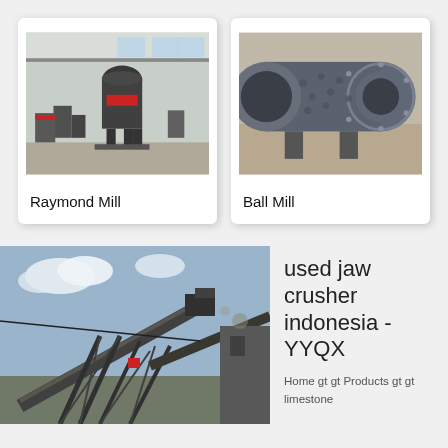[Figure (photo): Raymond Mill industrial grinding machine in a factory setting]
Raymond Mill
[Figure (photo): Ball Mill large cylindrical grinding machine on factory floor]
Ball Mill
[Figure (photo): Large jaw crusher industrial processing plant outdoor facility]
used jaw crusher indonesia - YYQX
Home gt gt Products gt gt limestone